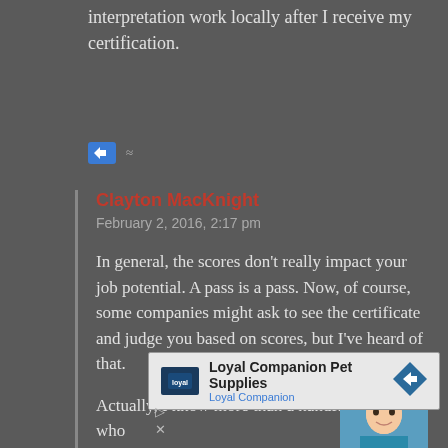interpretation work locally after I receive my certification.
Clayton MacKnight
February 2, 2016, 2:17 pm

In general, the scores don't really impact your job potential. A pass is a pass. Now, of course, some companies might ask to see the certificate and judge you based on scores, but I've heard of that.

Actually, I know more than a handful of people who
[Figure (other): Advertisement for Loyal Companion Pet Supplies with logo and arrow icon]